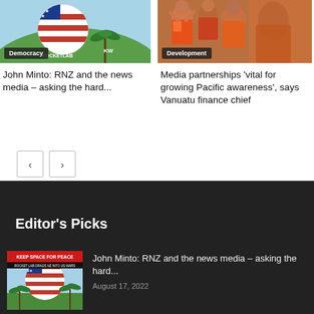[Figure (photo): Rocket Lab / Keep Space for Peace illustrated image with red white stripes on rocket globe, palm trees, green background with 'Democracy' badge overlay]
[Figure (photo): Pacific people in colorful traditional dress, crowd scene with 'Development' badge overlay]
John Minto: RNZ and the news media – asking the hard...
Media partnerships 'vital for growing Pacific awareness', says Vanuatu finance chief
[Figure (other): Pagination buttons: left arrow and right arrow]
Editor's Picks
[Figure (illustration): Keep Space For Peace – Rocket Lab Drags NZ Into US Wars poster illustration with globe, red white blue stripes, palm trees]
John Minto: RNZ and the news media – asking the hard...
August 17, 2022